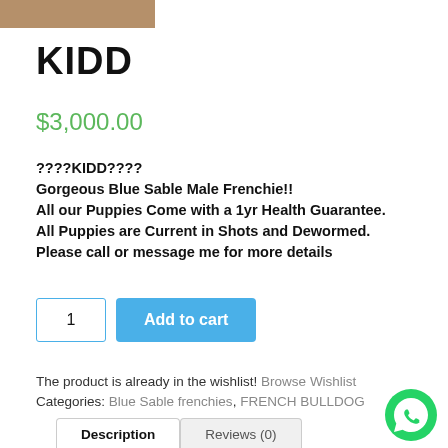[Figure (photo): Partial photo of a dog (French Bulldog) at top left corner]
KIDD
$3,000.00
????KIDD????
Gorgeous Blue Sable Male Frenchie!!
All our Puppies Come with a 1yr Health Guarantee.
All Puppies are Current in Shots and Dewormed.
Please call or message me for more details
1  Add to cart
The product is already in the wishlist! Browse Wishlist
Categories: Blue Sable frenchies, FRENCH BULLDOG
Description   Reviews (0)